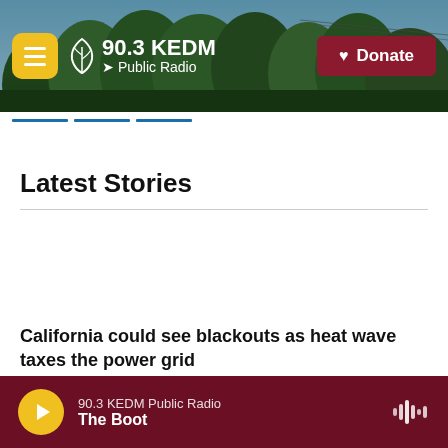[Figure (screenshot): 90.3 KEDM Public Radio website header banner with forest/tree photo background, hamburger menu button (yellow), station logo with leaf icon and text '90.3 KEDM Public Radio', and red Donate button with heart icon]
90.3 KEDM Public Radio
Latest Stories
California could see blackouts as heat wave taxes the power grid
Remembering Marilyn Loden, who gave a name to the glass ceiling
90.3 KEDM Public Radio · The Boot